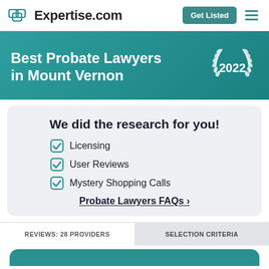Expertise.com
Best Probate Lawyers in Mount Vernon 2022
We did the research for you!
Licensing
User Reviews
Mystery Shopping Calls
Probate Lawyers FAQs →
REVIEWS: 28 PROVIDERS
SELECTION CRITERIA